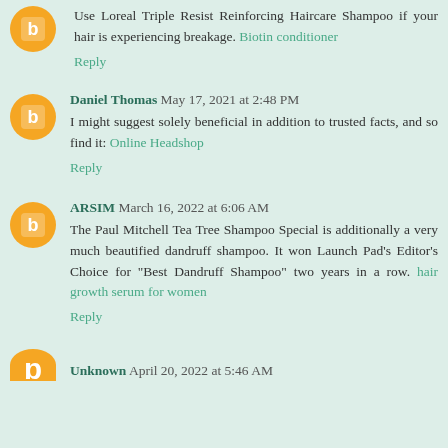Use Loreal Triple Resist Reinforcing Haircare Shampoo if your hair is experiencing breakage. Biotin conditioner
Reply
Daniel Thomas May 17, 2021 at 2:48 PM
I might suggest solely beneficial in addition to trusted facts, and so find it: Online Headshop
Reply
ARSIM March 16, 2022 at 6:06 AM
The Paul Mitchell Tea Tree Shampoo Special is additionally a very much beautified dandruff shampoo. It won Launch Pad's Editor's Choice for "Best Dandruff Shampoo" two years in a row. hair growth serum for women
Reply
Unknown April 20, 2022 at 5:46 AM